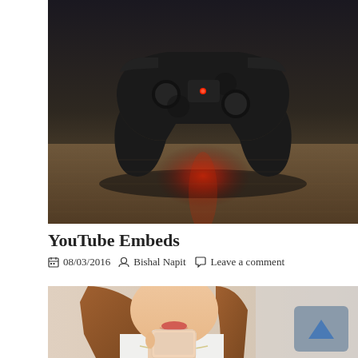[Figure (photo): A PlayStation-style game controller sitting on a wooden surface with a red LED light glowing underneath, shot in a dark moody environment]
YouTube Embeds
08/03/2016  Bishal Napit  Leave a comment
[Figure (photo): A young Asian woman with long brown hair smiling and looking at a white smartphone she is holding up, wearing a white top and necklace]